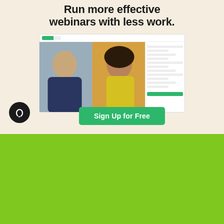Run more effective webinars with less work.
[Figure (screenshot): Demio webinar platform screenshot showing two participants (man in dark shirt, woman in yellow top) in video call, with a sidebar panel on the right showing chat or attendee list]
Sign Up for Free
The best way to make training videos.
Try Free
[Figure (illustration): Laptop showing video editing software on a green background, surrounded by green plants, a coffee cup, and other desk items]